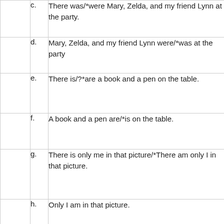|  | c. | There was/*were Mary, Zelda, and my friend Lynn at the party. |
|  | d. | Mary, Zelda, and my friend Lynn were/*was at the party |
|  | e. | There is/?*are a book and a pen on the table. |
|  | f. | A book and a pen are/*is on the table. |
|  | g. | There is only me in that picture/*There am only I in that picture. |
|  | h. | Only I am in that picture. |